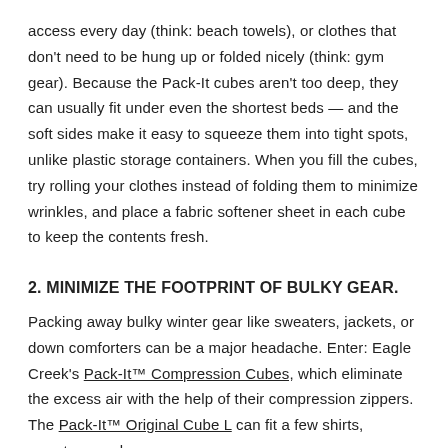access every day (think: beach towels), or clothes that don't need to be hung up or folded nicely (think: gym gear). Because the Pack-It cubes aren't too deep, they can usually fit under even the shortest beds — and the soft sides make it easy to squeeze them into tight spots, unlike plastic storage containers. When you fill the cubes, try rolling your clothes instead of folding them to minimize wrinkles, and place a fabric softener sheet in each cube to keep the contents fresh.
2. MINIMIZE THE FOOTPRINT OF BULKY GEAR.
Packing away bulky winter gear like sweaters, jackets, or down comforters can be a major headache. Enter: Eagle Creek's Pack-It™ Compression Cubes, which eliminate the excess air with the help of their compression zippers. The Pack-It™ Original Cube L can fit a few shirts, sweaters, and